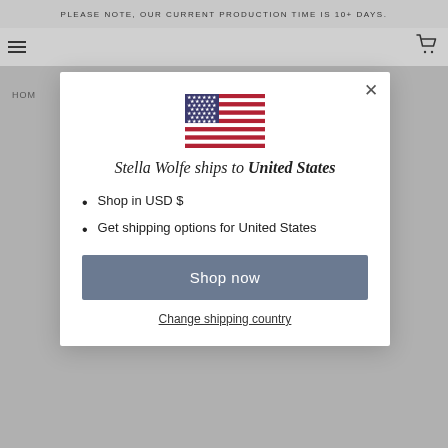PLEASE NOTE, OUR CURRENT PRODUCTION TIME IS 10+ DAYS.
HOM
[Figure (illustration): Flag of the United States of America — blue canton with white stars, red and white stripes]
Stella Wolfe ships to United States
Shop in USD $
Get shipping options for United States
Shop now
Change shipping country